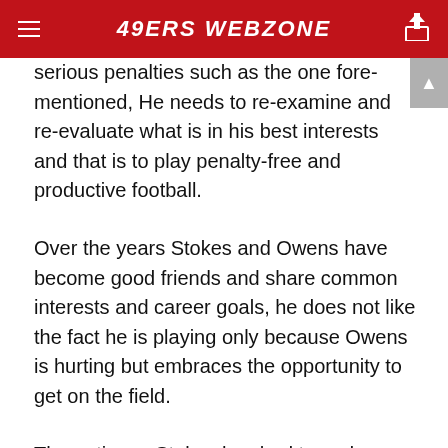49ERS WEBZONE
serious penalties such as the one fore-mentioned, He needs to re-examine and re-evaluate what is in his best interests and that is to play penalty-free and productive football.
Over the years Stokes and Owens have become good friends and share common interests and career goals, he does not like the fact he is playing only because Owens is hurting but embraces the opportunity to get on the field.
The patience Stokes has had to endure has been anything but recognized fully, for this athlete has a heart bursting to see more of the field. In all being a third-a-down offensive mechanism that the 49e...